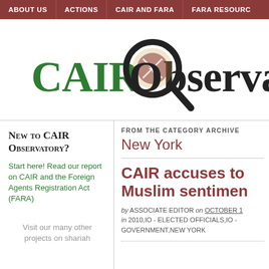ABOUT US | ACTIONS | CAIR AND FARA | FARA RESOURC...
[Figure (logo): CAIR Observatory logo with magnifying glass over text]
FROM THE CATEGORY ARCHIVE
New York
New to CAIR Observatory?
Start here! Read our report on CAIR and the Foreign Agents Registration Act (FARA)
Visit our many other projects on shariah
CAIR accuses to Muslim sentiment
by ASSOCIATE EDITOR on OCTOBER 1... in 2010,IO - ELECTED OFFICIALS,IO - GOVERNMENT,NEW YORK